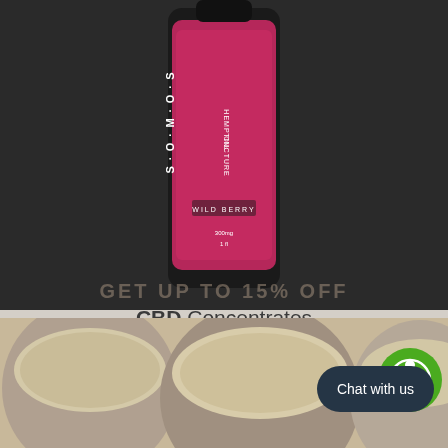[Figure (photo): Product photo of a SOMOS Hemp Oil Tincture Wild Berry bottle against a dark background]
GET UP TO 15% OFF
CBD Concentrates
Organic, Broad Spectrum Tinctures + Flavorless, Odorless, Tasteless Mixable C
VIEW DETAILS
GET UP TO 15% OFF
[Figure (photo): Close-up photo of open tins/jars of cream or salve products from above]